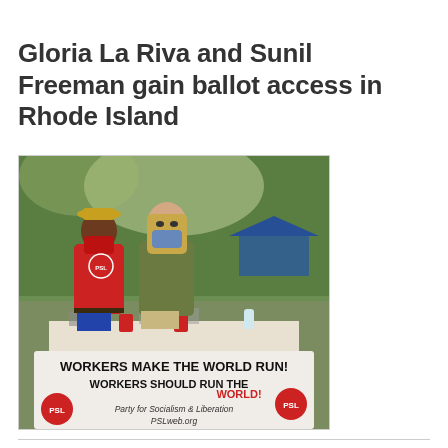Gloria La Riva and Sunil Freeman gain ballot access in Rhode Island
[Figure (photo): Two people wearing face masks standing behind a table at an outdoor event. The table is covered with a banner reading: WORKERS MAKE THE WORLD RUN! WORKERS SHOULD RUN THE WORLD! PSL Party for Socialism & Liberation PSLweb.org. One person wears a red t-shirt with PSL logo and a yellow hat, the other wears an olive green t-shirt. Trees are visible in the background.]